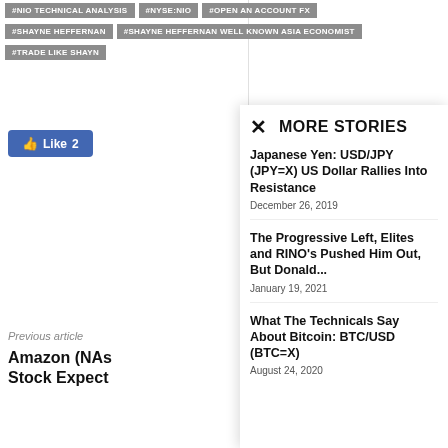#NIO TECHNICAL ANALYSIS
#NYSE:NIO
#OPEN AN ACCOUNT FX
#SHAYNE HEFFERNAN
#SHAYNE HEFFERNAN WELL KNOWN ASIA ECONOMIST
#TRADE LIKE SHAYN
[Figure (other): Facebook Like button showing 'Like 2']
Previous article
Amazon (NAS Stock Expect
MORE STORIES
✕
Japanese Yen: USD/JPY (JPY=X) US Dollar Rallies Into Resistance
December 26, 2019
The Progressive Left, Elites and RINO's Pushed Him Out, But Donald...
January 19, 2021
What The Technicals Say About Bitcoin: BTC/USD (BTC=X)
August 24, 2020
[Figure (photo): Aerial photo of a waterfront area with blue water and green vegetation]